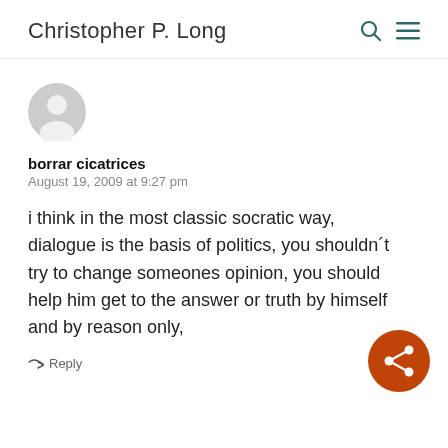Christopher P. Long
[Figure (illustration): Default user avatar — grey circle with a white silhouette of a person's head and shoulders]
borrar cicatrices
August 19, 2009 at 9:27 pm
i think in the most classic socratic way, dialogue is the basis of politics, you shouldn´t try to change someones opinion, you should help him get to the answer or truth by himself and by reason only,
Reply
[Figure (logo): Orange circular share button icon with three connected dots]